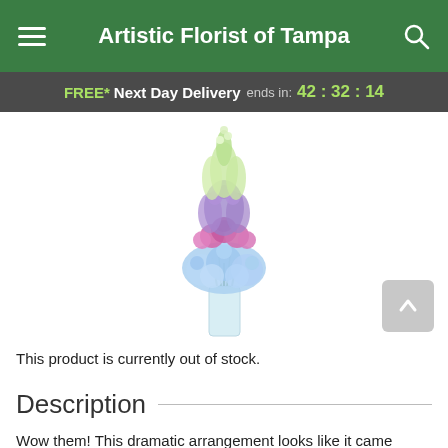Artistic Florist of Tampa
FREE* Next Day Delivery ends in: 42:32:14
[Figure (photo): A tall floral arrangement in a clear glass vase featuring blue hydrangeas at the base, pink/purple roses in the middle, and purple delphinium and green flowers at the top.]
This product is currently out of stock.
Description
Wow them! This dramatic arrangement looks like it came